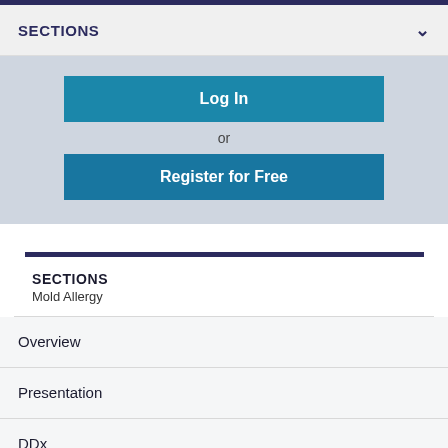SECTIONS
Log In
or
Register for Free
SECTIONS
Mold Allergy
Overview
Presentation
DDx